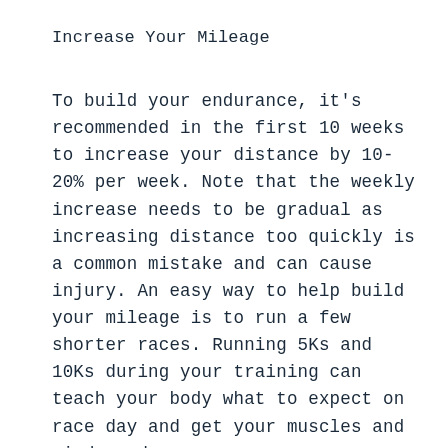Increase Your Mileage
To build your endurance, it's recommended in the first 10 weeks to increase your distance by 10-20% per week. Note that the weekly increase needs to be gradual as increasing distance too quickly is a common mistake and can cause injury. An easy way to help build your mileage is to run a few shorter races. Running 5Ks and 10Ks during your training can teach your body what to expect on race day and get your muscles and mind ready.